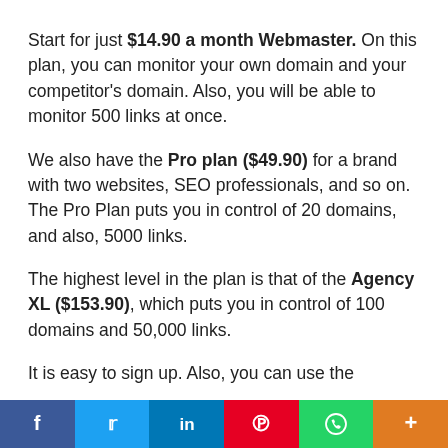Start for just $14.90 a month Webmaster. On this plan, you can monitor your own domain and your competitor's domain. Also, you will be able to monitor 500 links at once.
We also have the Pro plan ($49.90) for a brand with two websites, SEO professionals, and so on. The Pro Plan puts you in control of 20 domains, and also, 5000 links.
The highest level in the plan is that of the Agency XL ($153.90), which puts you in control of 100 domains and 50,000 links.
It is easy to sign up. Also, you can use the
[Figure (infographic): Social media sharing bar with buttons for Facebook, Twitter, LinkedIn, Pinterest, WhatsApp, and a plus/more button]